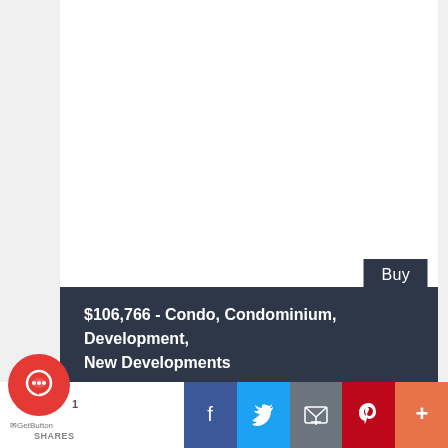[Figure (photo): White blank image area at top of listing card]
Buy
$106,766 - Condo, Condominium, Development, New Developments
Agile is a comprehensive group with real estate development as its main business and diversified development in life services, environmental protection, hotels,...
More Details ▸
56.73 m²
[Figure (screenshot): Social sharing bar with Facebook, Twitter, Email, Pinterest, and More buttons, plus GetButton chat widget]